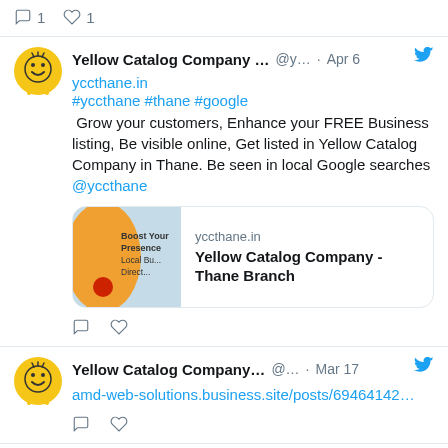1  1
Yellow Catalog Company … @y… · Apr 6
yccthane.in
#yccthane #thane #google
Grow your customers, Enhance your FREE Business listing, Be visible online, Get listed in Yellow Catalog Company in Thane. Be seen in local Google searches @yccthane
[Figure (screenshot): Preview card showing yccthane.in with image of Boost Your Presence Local Business Directory and title Yellow Catalog Company - Thane Branch]
Yellow Catalog Company… @… · Mar 17
amd-web-solutions.business.site/posts/69464142…